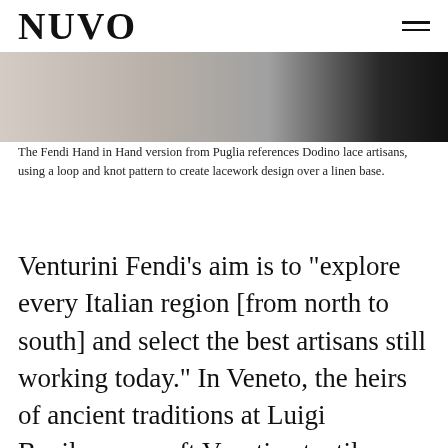NUVO
[Figure (photo): Partial view of a Fendi handbag with lace and fabric details against a dark background]
The Fendi Hand in Hand version from Puglia references Dodino lace artisans, using a loop and knot pattern to create lacework design over a linen base.
Venturini Fendi’s aim is to “explore every Italian region [from north to south] and select the best artisans still working today.” In Veneto, the heirs of ancient traditions at Luigi Bevilacqua craft Venetian textiles on 18th-century looms; a powder-pink silk lines the velvet shape with a floral brocade motif for the Venetian Baguette iteration. In the hilltop village of Ulassai in Sardinia, the Su Marmuri